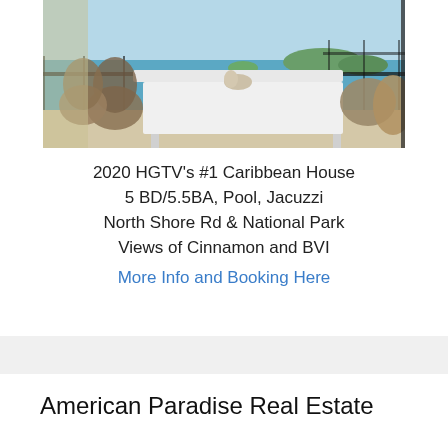[Figure (photo): Interior photo of a dining room with a white rectangular table, rattan chairs, and a panoramic ocean/bay view with islands visible through floor-to-ceiling windows and a balcony railing.]
2020 HGTV’s #1 Caribbean House
5 BD/5.5BA, Pool, Jacuzzi
North Shore Rd & National Park
Views of Cinnamon and BVI
More Info and Booking Here
American Paradise Real Estate